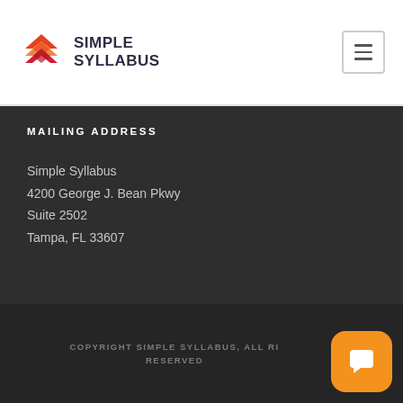[Figure (logo): Simple Syllabus logo with geometric chevron/arrow shape in orange, red, and dark red, followed by text 'SIMPLE SYLLABUS' in dark bold letters]
MAILING ADDRESS
Simple Syllabus
4200 George J. Bean Pkwy
Suite 2502
Tampa, FL 33607
COPYRIGHT SIMPLE SYLLABUS, ALL RIGHTS RESERVED